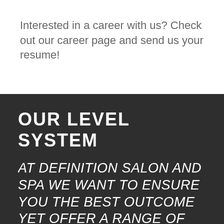Interested in a career with us? Check out our career page and send us your resume!
OUR LEVEL SYSTEM
AT DEFINITION SALON AND SPA WE WANT TO ENSURE YOU THE BEST OUTCOME YET OFFER A RANGE OF PRICES TO SUITE YOUR NEEDS